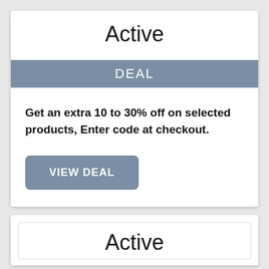Active
DEAL
Get an extra 10 to 30% off on selected products, Enter code at checkout.
VIEW DEAL
Active